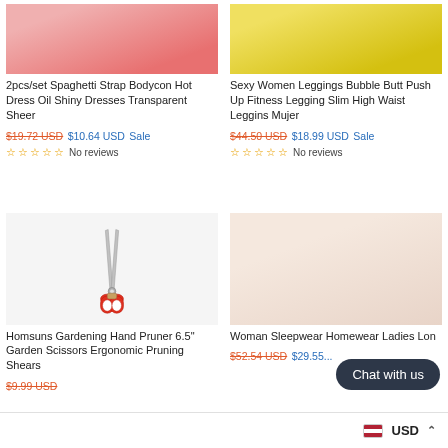[Figure (photo): Red dress/bodysuit product image (top cropped)]
[Figure (photo): Yellow leggings product image (top cropped)]
2pcs/set Spaghetti Strap Bodycon Hot Dress Oil Shiny Dresses Transparent Sheer
$19.72 USD $10.64 USD Sale
No reviews
Sexy Women Leggings Bubble Butt Push Up Fitness Legging Slim High Waist Leggins Mujer
$44.50 USD $18.99 USD Sale
No reviews
[Figure (photo): Red gardening hand pruner scissors on white background]
[Figure (photo): Woman wearing pink lace sleepwear/nightdress]
Homsuns Gardening Hand Pruner 6.5" Garden Scissors Ergonomic Pruning Shears
$9.99 USD
Woman Sleepwear Homewear Ladies Lon...
$52.54 USD $29.55...
Chat with us
USD